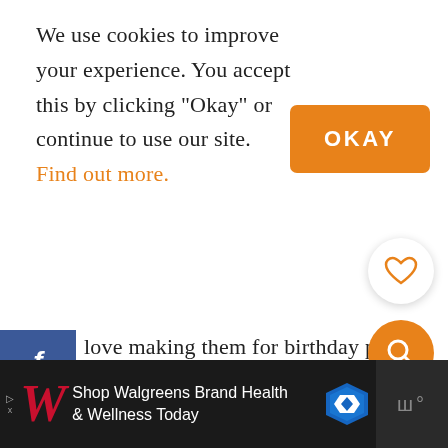We use cookies to improve your experience. You accept this by clicking "Okay" or continue to use our site. Find out more.
[Figure (other): Orange OKAY button]
[Figure (other): Facebook share button (blue) and Pinterest share button (red) on left sidebar]
love making them for birthday parties, lunch, or actually just any time of the year. They're also perfect for Valentine's Day and 400 they're a big hit with kids!
[Figure (other): Heart/favorite button - white circle with orange heart outline]
[Figure (other): Search button - orange circle with white magnifying glass icon]
[Figure (other): Walgreens advertisement banner at bottom: Shop Walgreens Brand Health & Wellness Today]